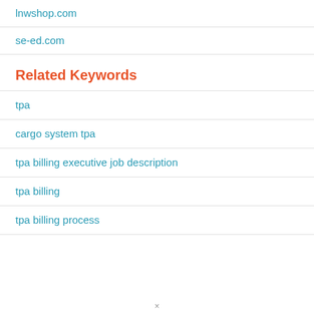lnwshop.com
se-ed.com
Related Keywords
tpa
cargo system tpa
tpa billing executive job description
tpa billing
tpa billing process